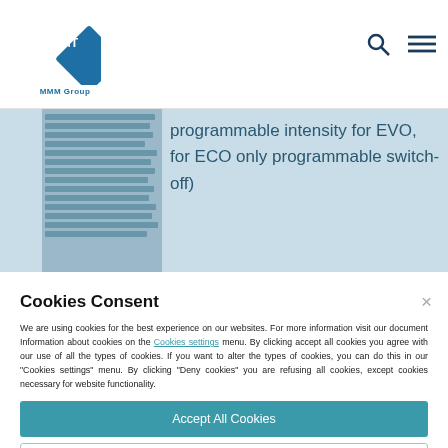[Figure (logo): BMT MMM Group logo — blue diamond shape with BMT text inside, MMM Group text below]
programmable intensity for EVO, for ECO only programmable switch-off)
Cookies Consent
We are using cookies for the best experience on our websites. For more information visit our document Information about cookies on the Cookies settings menu. By clicking accept all cookies you agree with our use of all the types of cookies. If you want to alter the types of cookies, you can do this in our "Cookies settings" menu. By clicking "Deny cookies" you are refusing all cookies, except cookies necessary for website functionality.
Accept All Cookies
Deny Cookies
Cookies Settings